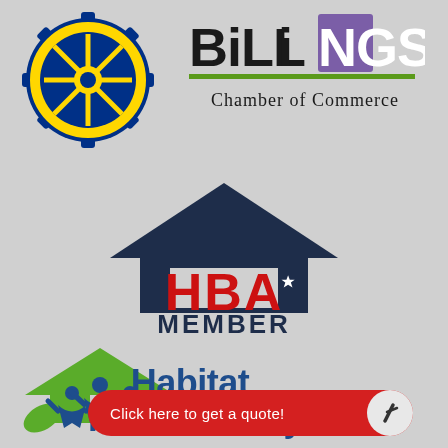[Figure (logo): Rotary International logo — blue and gold gear/wheel emblem with 'INTERNATIONAL' text around the center, yellow spokes]
[Figure (logo): Billings Chamber of Commerce logo — 'BiLLiNGS' text in black with purple square accent over 'NGS', green underline, 'Chamber of Commerce' subtitle in black serif text]
[Figure (logo): HBA Member logo — dark navy house silhouette on top, red bold 'HBA' letters with white star in the A, dark navy bold 'MEMBER' text below]
[Figure (logo): Habitat for Humanity logo — green roof/chevron shape over three blue stylized human figures with arms raised, green leaf accent at bottom left, blue bold 'Habitat for Humanity' text with registered trademark symbol]
Click here to get a quote!